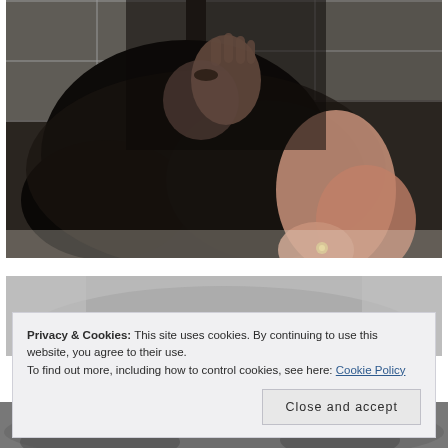[Figure (photo): A woman with dark hair sitting in a bathtub, wearing dark clothing. She has one hand raised near her face partially obscuring it, and the other resting near her shoulder. The image is dark and moody with white/grey tile visible in the background.]
[Figure (photo): Partial black and white photo at the bottom of the page, partially obscured by the cookie consent banner.]
Privacy & Cookies: This site uses cookies. By continuing to use this website, you agree to their use.
To find out more, including how to control cookies, see here: Cookie Policy
Close and accept